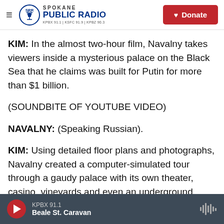Spokane Public Radio — KPBX 91.1 | KSFC 91.9 | KPBZ 90.3
KIM: In the almost two-hour film, Navalny takes viewers inside a mysterious palace on the Black Sea that he claims was built for Putin for more than $1 billion.
(SOUNDBITE OF YOUTUBE VIDEO)
NAVALNY: (Speaking Russian).
KIM: Using detailed floor plans and photographs, Navalny created a computer-simulated tour through a gaudy palace with its own theater, casino, vineyards and even an underground hockey rink. Putin denied ever owning or directing...
KPBX 91.1 — Beale St. Caravan